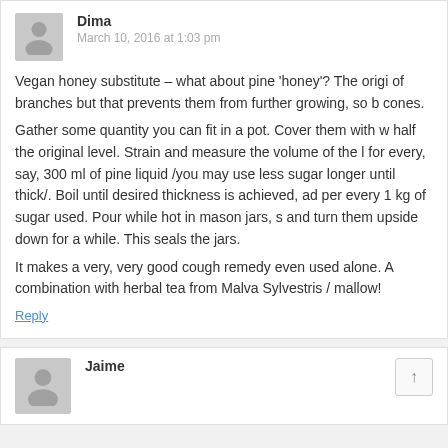Dima
March 10, 2016 at 1:03 pm
Vegan honey substitute – what about pine 'honey'? The origi... of branches but that prevents them from further growing, so b... cones.
Gather some quantity you can fit in a pot. Cover them with w... half the original level. Strain and measure the volume of the l... for every, say, 300 ml of pine liquid /you may use less sugar b... longer until thick/. Boil until desired thickness is achieved, ad... per every 1 kg of sugar used. Pour while hot in mason jars, s... and turn them upside down for a while. This seals the jars.
It makes a very, very good cough remedy even used alone. A... combination with herbal tea from Malva Sylvestris / mallow!
Reply
Jaime